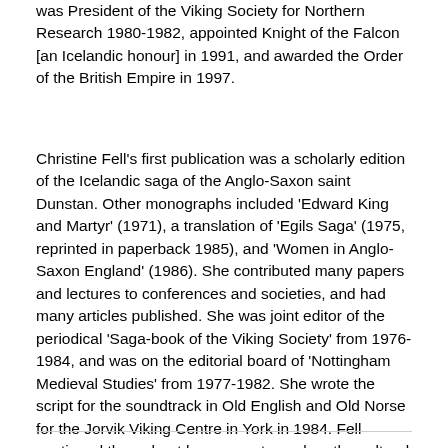was President of the Viking Society for Northern Research 1980-1982, appointed Knight of the Falcon [an Icelandic honour] in 1991, and awarded the Order of the British Empire in 1997.
Christine Fell's first publication was a scholarly edition of the Icelandic saga of the Anglo-Saxon saint Dunstan. Other monographs included 'Edward King and Martyr' (1971), a translation of 'Egils Saga' (1975, reprinted in paperback 1985), and 'Women in Anglo-Saxon England' (1986). She contributed many papers and lectures to conferences and societies, and had many articles published. She was joint editor of the periodical 'Saga-book of the Viking Society' from 1976-1984, and was on the editorial board of 'Nottingham Medieval Studies' from 1977-1982. She wrote the script for the soundtrack in Old English and Old Norse for the Jorvik Viking Centre in York in 1984. Fell continued throughout her career to explore the cultural and linguistic contacts of the English and Scandinavian worlds in the Middle Ages.